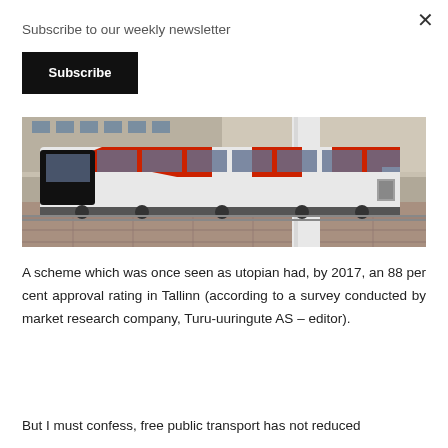Subscribe to our weekly newsletter
Subscribe
[Figure (photo): A modern red and white tram/light rail vehicle at a station platform, with large windows and distinctive diagonal red stripe design, viewed from the side at street level.]
A scheme which was once seen as utopian had, by 2017, an 88 per cent approval rating in Tallinn (according to a survey conducted by market research company, Turu-uuringute AS – editor).
But I must confess, free public transport has not reduced